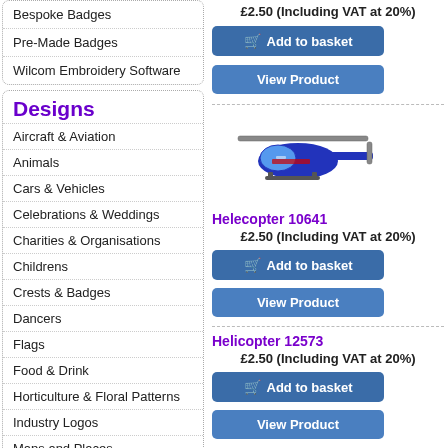Bespoke Badges
Pre-Made Badges
Wilcom Embroidery Software
Designs
Aircraft & Aviation
Animals
Cars & Vehicles
Celebrations & Weddings
Charities & Organisations
Childrens
Crests & Badges
Dancers
Flags
Food & Drink
Horticulture & Floral Patterns
Industry Logos
Maps and Places
Military
£2.50 (Including VAT at 20%)
Add to basket
View Product
[Figure (illustration): Blue and purple helicopter embroidery design]
Helecopter 10641
£2.50 (Including VAT at 20%)
Add to basket
View Product
Helicopter 12573
£2.50 (Including VAT at 20%)
Add to basket
View Product